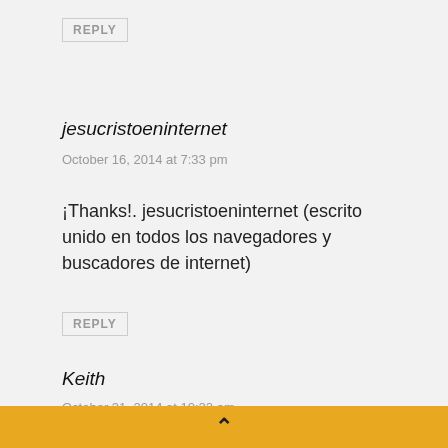REPLY
jesucristoeninternet
October 16, 2014 at 7:33 pm
¡Thanks!. jesucristoeninternet (escrito unido en todos los navegadores y buscadores de internet)
REPLY
Keith
October 31, 2014 at 10:22 am